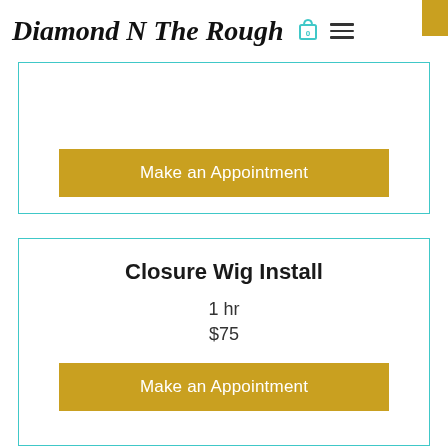Diamond N The Rough
Make an Appointment
Closure Wig Install
1 hr
$75
Make an Appointment
Frontal wig Install
2 hr
$120